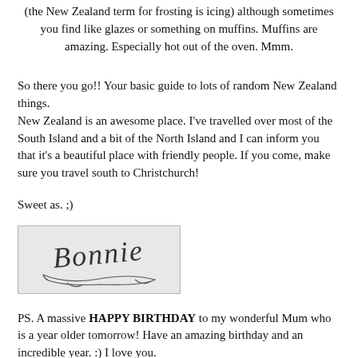(the New Zealand term for frosting is icing) although sometimes you find like glazes or something on muffins. Muffins are amazing. Especially hot out of the oven. Mmm.
So there you go!! Your basic guide to lots of random New Zealand things.
New Zealand is an awesome place. I've travelled over most of the South Island and a bit of the North Island and I can inform you that it's a beautiful place with friendly people. If you come, make sure you travel south to Christchurch!
Sweet as. ;)
[Figure (illustration): Handwritten cursive signature reading 'Bonnie' with decorative flourishes, displayed on a light grey background]
PS. A massive HAPPY BIRTHDAY to my wonderful Mum who is a year older tomorrow! Have an amazing birthday and an incredible year. :) I love you.